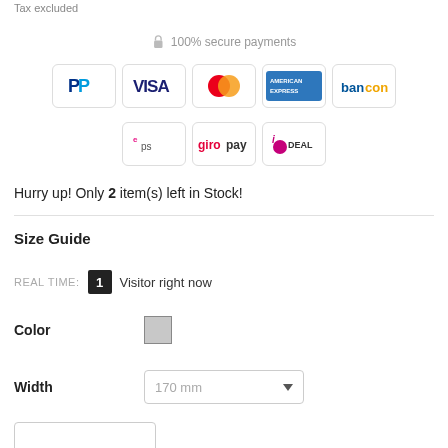Tax excluded
🔒 100% secure payments
[Figure (infographic): Row of payment method logos: PayPal, VISA, Mastercard, American Express, Bancontact]
[Figure (infographic): Row of payment method logos: EPS, Giropay, iDEAL]
Hurry up! Only 2 item(s) left in Stock!
Size Guide
REAL TIME: 1 Visitor right now
Color
Width
170 mm